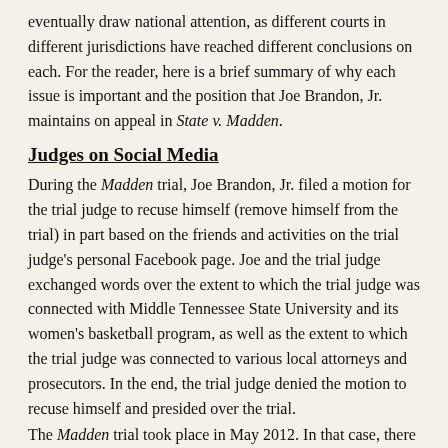eventually draw national attention, as different courts in different jurisdictions have reached different conclusions on each. For the reader, here is a brief summary of why each issue is important and the position that Joe Brandon, Jr. maintains on appeal in State v. Madden.
Judges on Social Media
During the Madden trial, Joe Brandon, Jr. filed a motion for the trial judge to recuse himself (remove himself from the trial) in part based on the friends and activities on the trial judge's personal Facebook page. Joe and the trial judge exchanged words over the extent to which the trial judge was connected with Middle Tennessee State University and its women's basketball program, as well as the extent to which the trial judge was connected to various local attorneys and prosecutors. In the end, the trial judge denied the motion to recuse himself and presided over the trial.
The Madden trial took place in May 2012. In that case, there were several heated exchanges surrounding the trial judge's use of Facebook and his personal Facebook account. In October 2012, months after Ms. Madden was found guilty of second degree murder, the Tennessee Judicial Ethics Committee issued an Advisory Opinion, No. 12-01, which specifically addressed "whether judges may utilize social media such as Facebook…and, if so, the extent to which they may participate."
The laws, regulations, opinions, and comments on judges and social media vary wildly throughout the country, but most stop short of an outright prohibition on